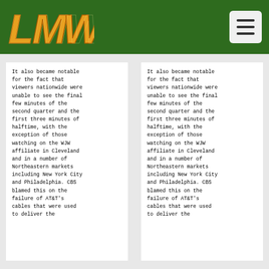LMW logo and navigation header
It also became notable for the fact that viewers nationwide were unable to see the final few minutes of the second quarter and the first three minutes of halftime, with the exception of those watching on the WJW affiliate in Cleveland and in a number of Northeastern markets including New York City and Philadelphia. CBS blamed this on the failure of AT&T's cables that were used to deliver the
It also became notable for the fact that viewers nationwide were unable to see the final few minutes of the second quarter and the first three minutes of halftime, with the exception of those watching on the WJW affiliate in Cleveland and in a number of Northeastern markets including New York City and Philadelphia. CBS blamed this on the failure of AT&T's cables that were used to deliver the